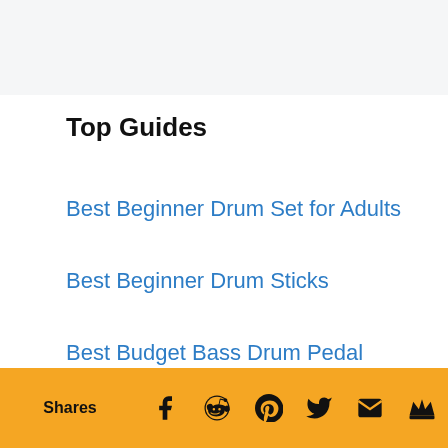Top Guides
Best Beginner Drum Set for Adults
Best Beginner Drum Sticks
Best Budget Bass Drum Pedal
Shares [Facebook] [Reddit] [Pinterest] [Twitter] [Email] [Crown]